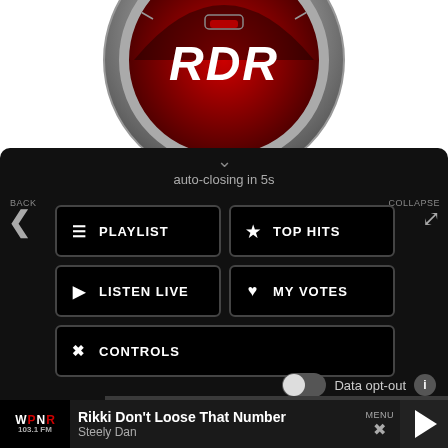[Figure (logo): RDR radio logo — circular speedometer-style gauge with red interior and chrome ring, white 'RDR' text in center, on dark background]
auto-closing in 5s
BACK
COLLAPSE
PLAYLIST
TOP HITS
LISTEN LIVE
MY VOTES
CONTROLS
Data opt-out
Rikki Don't Loose That Number
Steely Dan
MENU